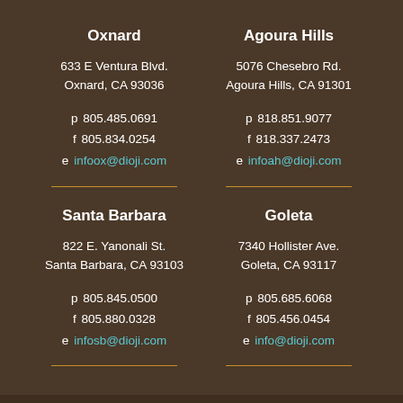Oxnard
633 E Ventura Blvd.
Oxnard, CA 93036
p 805.485.0691
f 805.834.0254
e infoox@dioji.com
Agoura Hills
5076 Chesebro Rd.
Agoura Hills, CA 91301
p 818.851.9077
f 818.337.2473
e infoah@dioji.com
Santa Barbara
822 E. Yanonali St.
Santa Barbara, CA 93103
p 805.845.0500
f 805.880.0328
e infosb@dioji.com
Goleta
7340 Hollister Ave.
Goleta, CA 93117
p 805.685.6068
f 805.456.0454
e info@dioji.com
© 2022 Dioji K-9 Resort & Athletic Club | Privacy Policy